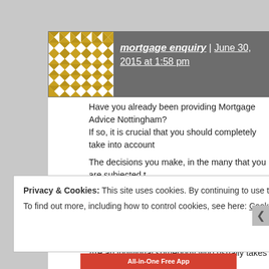[Figure (illustration): Avatar image with geometric quilt/mosaic pattern in gold and brown tones on white background]
mortgage enquiry | June 30, 2015 at 1:58 pm
Have you already been providing Mortgage Advice Nottingham? If so, it is crucial that you should completely take into account
The decisions you make, in the many that you are subjected to same choices someone else might make.
Go more than everything meticulously as well as the details w along with your distinctive person features and inclinations.
Are an individual somebody who usually takes enough time to your stomach instincts, often called intuition?
The procedure is associated with the very best methods arrive
Privacy & Cookies: This site uses cookies. By continuing to use this website, you agree to their use.
To find out more, including how to control cookies, see here: Cookie Policy
Close and accept